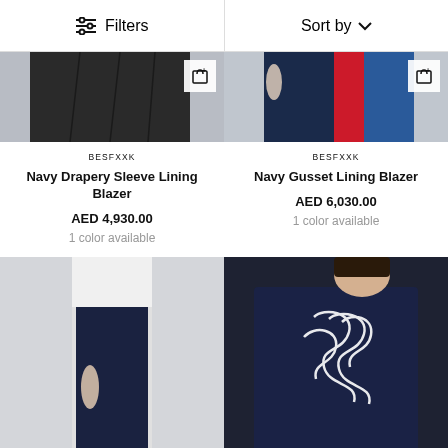Filters | Sort by
[Figure (photo): Partial view of a model wearing a navy pleated skirt/blazer with black fabric]
[Figure (photo): Partial view of a model wearing a colorful outfit with navy, red, and striped elements]
BESFXXK
Navy Drapery Sleeve Lining Blazer
AED 4,930.00
1 color available
BESFXXK
Navy Gusset Lining Blazer
AED 6,030.00
1 color available
[Figure (photo): Model wearing navy trousers with white side stripe, white top, light grey background]
[Figure (photo): Model wearing navy cardigan/jacket with white ruffle/graphic print detail, dark background]